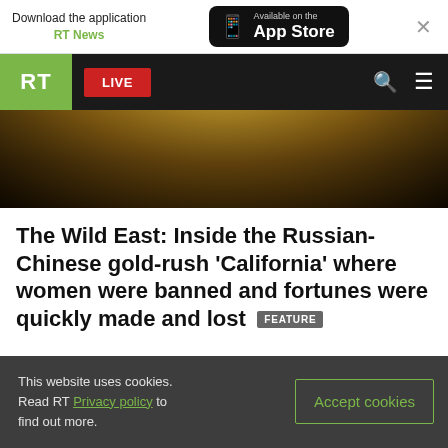Download the application RT News — Available on the App Store
[Figure (screenshot): RT website navigation bar with green RT logo, red LIVE button, search icon and hamburger menu on dark background, over a golden/dark hero image]
The Wild East: Inside the Russian-Chinese gold-rush 'California' where women were banned and fortunes were quickly made and lost  FEATURE
This website uses cookies. Read RT Privacy policy to find out more.